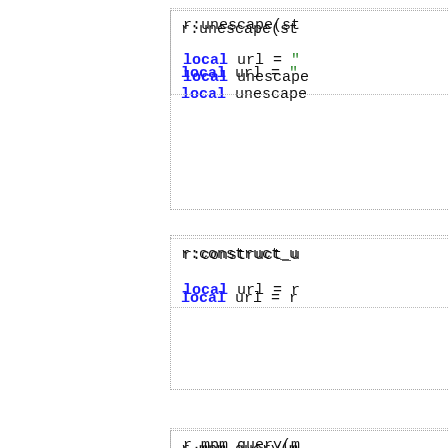[Figure (screenshot): Code block 1: r:unescape(st... with local url and local unescape]
[Figure (screenshot): Code block 2: r:construct_u... with local url = r]
[Figure (screenshot): Code block 3: r.mpm_query(m... with local mpm = r, if mpm == 1 th, r:puts("T, end]
[Figure (screenshot): Code block 4: r:expr(string... with if r:expr("%{b, r:puts("T, end]
[Figure (screenshot): Code block 5: r:scoreboard_... (partial)]